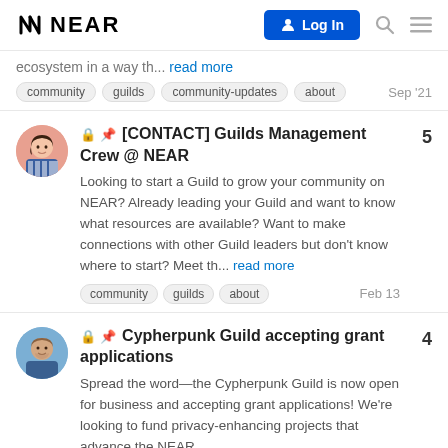NEAR | Log In
ecosystem in a way th... read more
community  guilds  community-updates  about  Sep '21
[CONTACT] Guilds Management Crew @ NEAR
Looking to start a Guild to grow your community on NEAR? Already leading your Guild and want to know what resources are available? Want to make connections with other Guild leaders but don't know where to start? Meet th... read more
community  guilds  about  Feb 13
Cypherpunk Guild accepting grant applications
Spread the word—the Cypherpunk Guild is now open for business and accepting grant applications! We're looking to fund privacy-enhancing projects that advance the NEAR